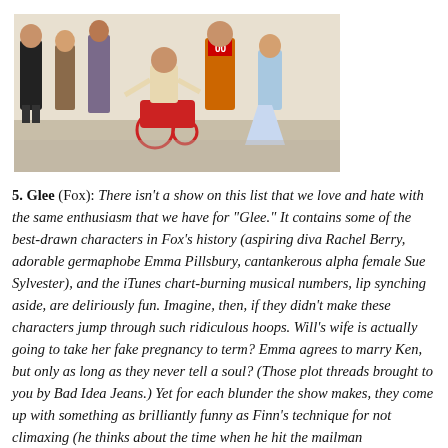[Figure (photo): Group photo of Glee cast members, including a person in a wheelchair, people in various costumes and casual clothing, in what appears to be a school hallway or gymnasium setting.]
5. Glee (Fox): There isn't a show on this list that we love and hate with the same enthusiasm that we have for "Glee." It contains some of the best-drawn characters in Fox's history (aspiring diva Rachel Berry, adorable germaphobe Emma Pillsbury, cantankerous alpha female Sue Sylvester), and the iTunes chart-burning musical numbers, lip synching aside, are deliriously fun. Imagine, then, if they didn't make these characters jump through such ridiculous hoops. Will's wife is actually going to take her fake pregnancy to term? Emma agrees to marry Ken, but only as long as they never tell a soul? (Those plot threads brought to you by Bad Idea Jeans.) Yet for each blunder the show makes, they come up with something as brilliantly funny as Finn's technique for not climaxing (he thinks about the time when he hit the mailman